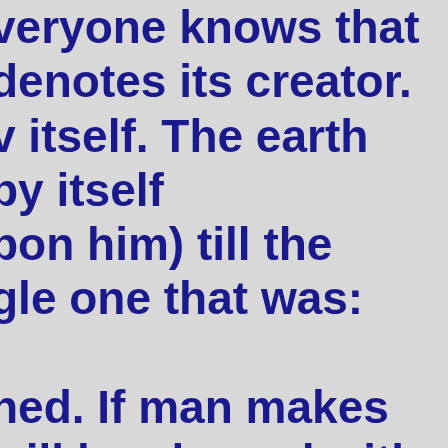veryone knows that denotes its creator. v itself. The earth by itself pon him) till the gle one that was:

ned. If man makes will be pleased with nature, his soul will ophets conformed g the evil. Jesus ts, you shall ghty sent people how to elatives, support the hat one should